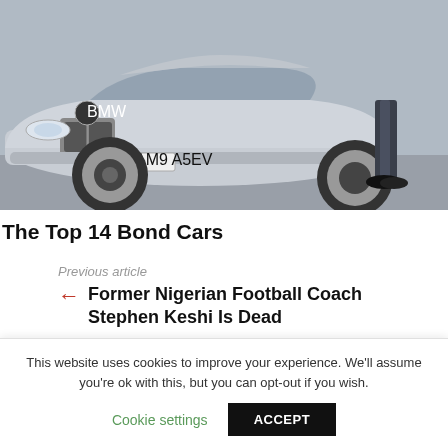[Figure (photo): Photo of a silver BMW sports car (BMW Z8) from the front-left angle with a person's legs visible standing beside the rear wheel. A British license plate reads 'AM9 45EV'. The car is parked on a light grey surface.]
The Top 14 Bond Cars
Previous article
Former Nigerian Football Coach Stephen Keshi Is Dead
Next article
50 Prominent Nigerians With Surnames Derived From Names Of Their Hometowns
This website uses cookies to improve your experience. We'll assume you're ok with this, but you can opt-out if you wish.
Cookie settings
ACCEPT